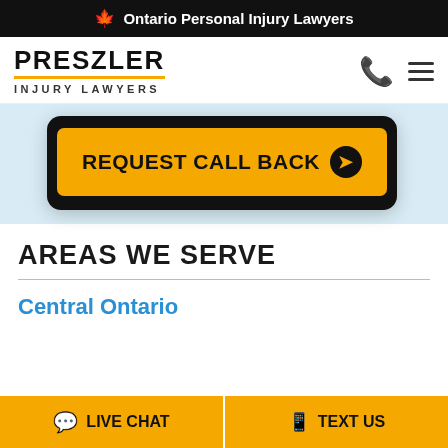🍁 Ontario Personal Injury Lawyers
[Figure (logo): Preszler Injury Lawyers logo with gold underline]
[Figure (screenshot): Mobile device showing REQUEST CALL BACK button with arrow circle on dark background]
AREAS WE SERVE
Central Ontario
LIVE CHAT
TEXT US